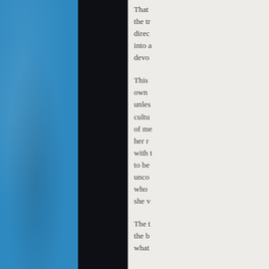[Figure (illustration): Blue textured vertical strip on the left side of the page with decorative paper/stone texture effect]
[Figure (illustration): Large dark navy/black rectangular panel occupying the center of the page]
That the tr direc into a devo This own unles cultu of me her r with t to be unco who she v The t the b what
[Figure (illustration): Off-white background right column containing body text paragraphs]